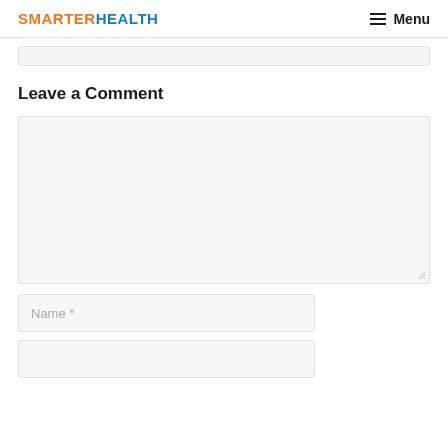SMARTER HEALTH — Menu
Leave a Comment
Comment textarea (empty)
Name *
Email *